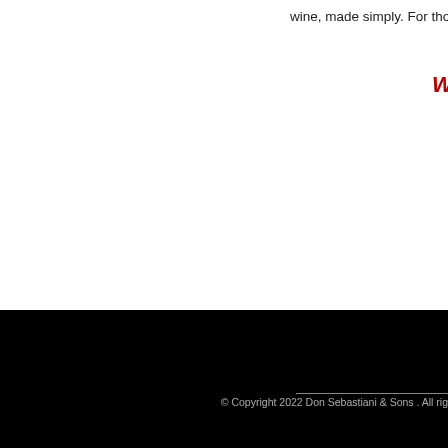wine, made simply. For thos
Wine S
© Copyright 2022 Don Sebastiani & Sons . All rig